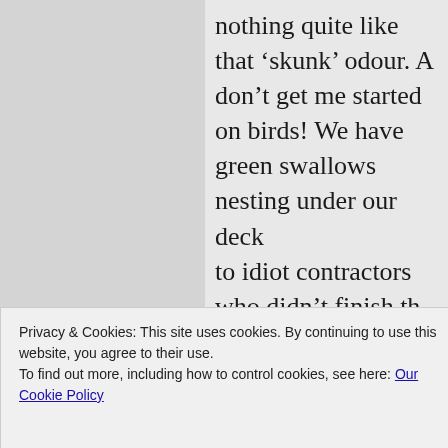nothing quite like that ‘skunk’ odour. And don’t get me started on birds! We have green swallows nesting under our deck (due to idiot contractors who didn’t finish the underside properly; but that’s a whole ‘nother story). We knocked down the barn swallow muddy nest attempts as soon as they started (and they moved on soon after), but the green swallows don’t make a mess. So we enjoyed their daily aerobatics... until we realized they’re eating all the bees! We’ve
Privacy & Cookies: This site uses cookies. By continuing to use this website, you agree to their use.
To find out more, including how to control cookies, see here: Our Cookie Policy
Close and accept
called to support that day, which they p– on